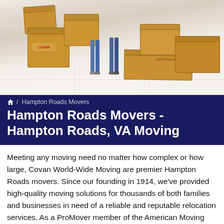[Figure (photo): Photo of moving boxes (Covan branded) on a tiled floor with two people standing among them in a bright room]
🏠 / Hampton Roads Movers
Hampton Roads Movers - Hampton Roads, VA Moving
Meeting any moving need no matter how complex or how large, Covan World-Wide Moving are premier Hampton Roads movers. Since our founding in 1914, we've provided high-quality moving solutions for thousands of both families and businesses in need of a reliable and reputable relocation services. As a ProMover member of the American Moving and Storage Association and a BBB-Accredited business, our seasoned moving veterans are wholly committed to your satisfaction. We are a nationwide network of moving